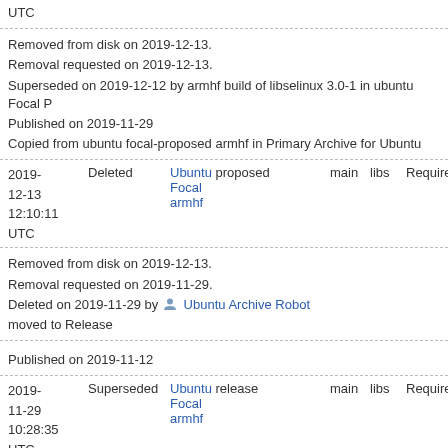UTC
Removed from disk on 2019-12-13.
Removal requested on 2019-12-13.
Superseded on 2019-12-12 by armhf build of libselinux 3.0-1 in ubuntu Focal P
Published on 2019-11-29
Copied from ubuntu focal-proposed armhf in Primary Archive for Ubuntu
| Date | Status | Distribution | Pocket | Component | Section | Priority |
| --- | --- | --- | --- | --- | --- | --- |
| 2019-12-13 12:10:11 UTC | Deleted | Ubuntu Focal armhf | proposed | main | libs | Required |
Removed from disk on 2019-12-13.
Removal requested on 2019-11-29.
Deleted on 2019-11-29 by Ubuntu Archive Robot moved to Release
Published on 2019-11-12
| Date | Status | Distribution | Pocket | Component | Section | Priority |
| --- | --- | --- | --- | --- | --- | --- |
| 2019-11-29 10:28:35 UTC | Superseded | Ubuntu Focal armhf | release | main | libs | Required |
Removed from disk on 2019-11-30.
Removal requested on 2019-11-30.